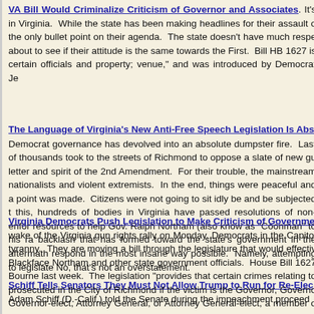VA Bill Would Criminalize Criticism of Governor and Associates. It's in Virginia. While the state has been making headlines for their assault o the only bullet point on their agenda. The state doesn't have much respe about to see if their attitude is the same towards the First. Bill HB 1627 is certain officials and property; venue," and was introduced by Democrat Je
The Language of Virginia's New Anti-Free Speech Legislation Is Abs Democrat governance has devolved into an absolute dumpster fire. Last of thousands took to the streets of Richmond to oppose a slate of new gu letter and spirit of the 2nd Amendment. For their trouble, the mainstream nationalists and violent extremists. In the end, things were peaceful and point was made. Citizens were not going to sit idly be and be subjected t this, hundreds of bodies in Virginia have passed resolutions of non-enfor resources to help Gov. Ralph Northam (also know as "Coonman" to his ra backlash that has formed toward the state's government in the aftermath respond in the most insane way possible. Namely, attempting to legislate No, that's not an overstatement.
Virginia Democrats Push Legislation to Make Criticism of Governme wake of the Virginia gun rights rally on Monday, Democrats in the Capitol tyranny. They are moving a bill through the legislature that would effectiv Blackface Northam and other state government officials. House Bill 1627 Bourne last week. The legislation "provides that certain crimes relating to prosecuted in the City of Richmond if the victim is the Governor, Governo Governor-elect, Attorney General, or Attorney General-elect, a member o justice of the Supreme Court of Virginia, or a judge of the Court of Appeal explicitly criminalizes free speech, in what would constitute a blatant attac Constitution.
Schiff Tells Senators They Must Not Allow Trump to Run for Re-Elec Adam Schiff (D.-Calif.) told the Senate during the impeachment proceed